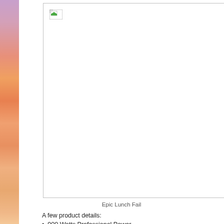[Figure (photo): Broken/missing image placeholder with a small broken image icon in the top-left corner, contained within a light gray border box. Background is white.]
Epic Lunch Fail
A few product details:
900 Watts Professional Power
#1 Most Powerful Nutrient & Vitamin Extraction the power to unloc
A few more details...